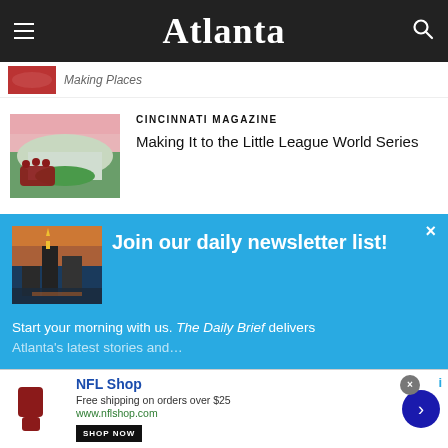Atlanta
Making Places (truncated/partial)
CINCINNATI MAGAZINE
Making It to the Little League World Series
Join our daily newsletter list!
Start your morning with us. The Daily Brief delivers Atlanta's latest stories and ...
[Figure (screenshot): NFL Shop advertisement: Free shipping on orders over $25, www.nflshop.com, SHOP NOW button]